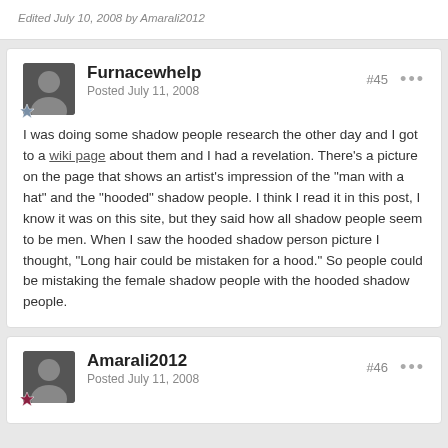Edited July 10, 2008 by Amarali2012
Furnacewhelp
Posted July 11, 2008
#45
I was doing some shadow people research the other day and I got to a wiki page about them and I had a revelation. There's a picture on the page that shows an artist's impression of the "man with a hat" and the "hooded" shadow people. I think I read it in this post, I know it was on this site, but they said how all shadow people seem to be men. When I saw the hooded shadow person picture I thought, "Long hair could be mistaken for a hood." So people could be mistaking the female shadow people with the hooded shadow people.
Amarali2012
Posted July 11, 2008
#46